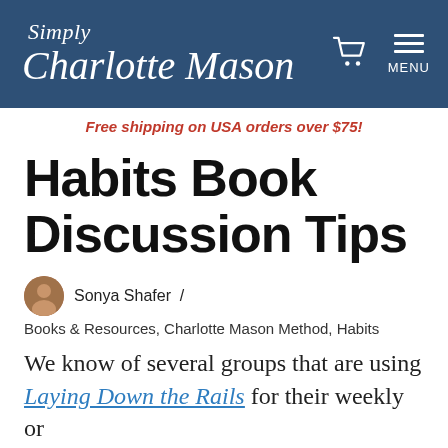Simply Charlotte Mason
Free shipping on USA orders over $75!
Habits Book Discussion Tips
Sonya Shafer / Books & Resources, Charlotte Mason Method, Habits
We know of several groups that are using Laying Down the Rails for their weekly or